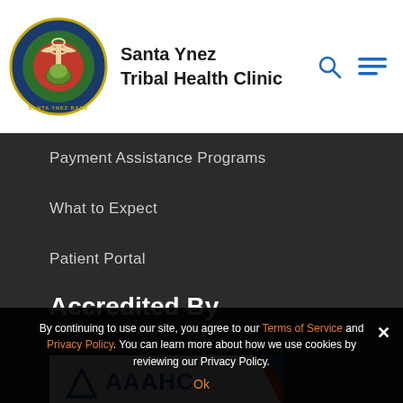[Figure (logo): Santa Ynez Tribal Health Clinic circular logo with turtle and medical symbol]
Santa Ynez
Tribal Health Clinic
[Figure (other): Search icon (magnifying glass) and hamburger menu icon in blue]
Payment Assistance Programs
What to Expect
Patient Portal
Accredited By
[Figure (logo): AAAHC accreditation logo with blue triangle and orange diagonal stripe]
By continuing to use our site, you agree to our Terms of Service and Privacy Policy. You can learn more about how we use cookies by reviewing our Privacy Policy.
Ok